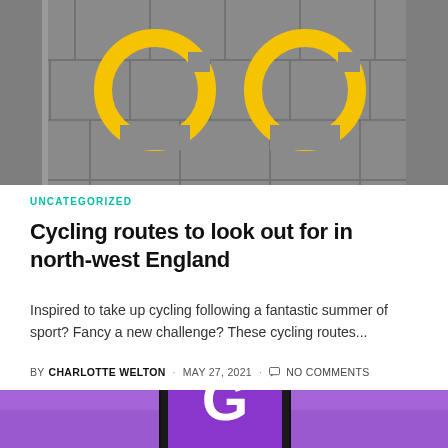[Figure (photo): Grey stone pavement with two yellow cycling route symbols painted on it]
UNCATEGORIZED
Cycling routes to look out for in north-west England
Inspired to take up cycling following a fantastic summer of sport? Fancy a new challenge? These cycling routes...
BY CHARLOTTE WELTON · MAY 27, 2021 · NO COMMENTS
[Figure (photo): Purple background with a smartphone showing a purple screen with a white G-shaped icon, likely Twitch or a gaming app]